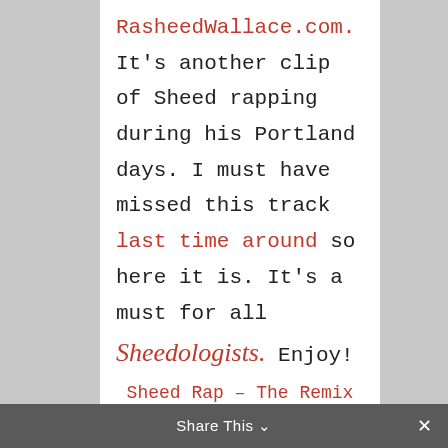RasheedWallace.com. It's another clip of Sheed rapping during his Portland days. I must have missed this track last time around so here it is. It's a must for all Sheedologists. Enjoy!
Sheed Rap – The Remix
Right click to save the MP3 file or click to play in your default music player.
Share This ∨